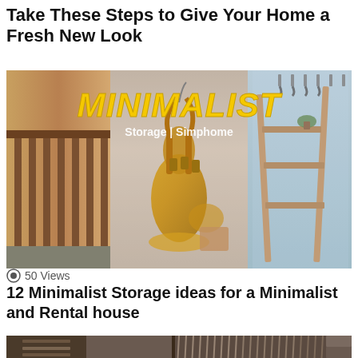Take These Steps to Give Your Home a Fresh New Look
[Figure (photo): Collage of three home storage images with bold yellow italic MINIMALIST text overlay and 'Storage | Simphome' subtitle. Left panel shows wooden railing/balcony. Center panel shows a brass tuba instrument. Right panel shows a wooden ladder shelf with plants.]
50 Views
12 Minimalist Storage ideas for a Minimalist and Rental house
[Figure (photo): Partial view of two home storage images. Left shows interior wooden storage unit. Right shows hanging clothes on hangers in a closet.]